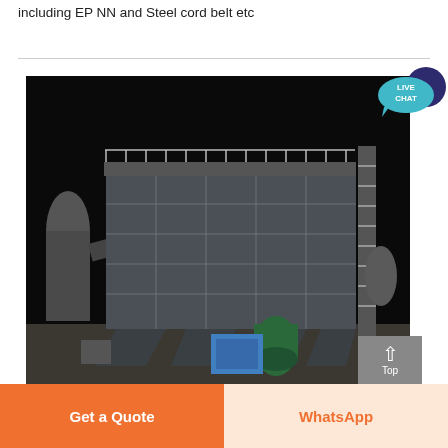including EP NN and Steel cord belt etc
[Figure (photo): Industrial dust collector / baghouse filter system — a large grey multi-compartment rectangular filter unit on steel legs, with metal walkway railings on top, access ladder tower on right side, green pressure vessel and blue equipment box at base, photographed at night against a black sky.]
Top
Get a Quote
WhatsApp